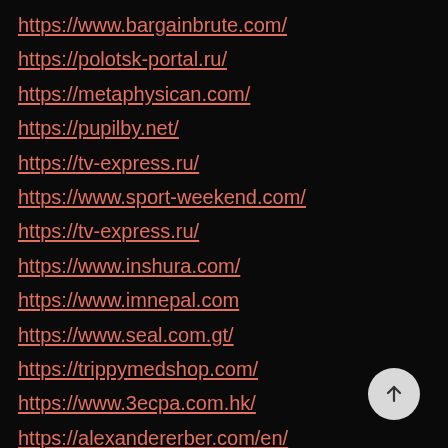https://www.bargainbrute.com/
https://polotsk-portal.ru/
https://metaphysican.com/
https://pupilby.net/
https://tv-express.ru/
https://www.sport-weekend.com/
https://tv-express.ru/
https://www.inshura.com/
https://www.imnepal.com
https://www.seal.com.gt/
https://trippymedshop.com/
https://www.3ecpa.com.hk/
https://alexandererber.com/en/
https://www.duurzaamnieuws.nl/
https://duurzaammetvakantie.nl/
https://goldrateinpakistan.net/